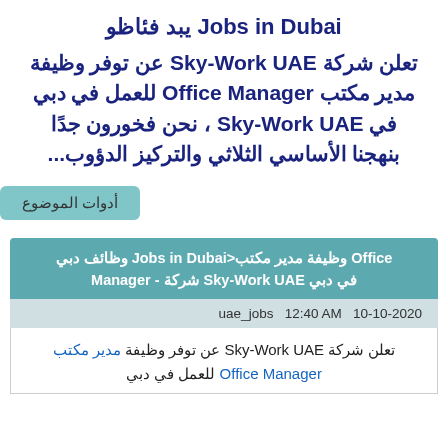وظائف دبي Jobs in Dubai
تعلن شركة Sky-Work UAE عن توفر وظيفة مدير مكتب Office Manager للعمل في دبي في Sky-Work UAE ، نحن فخورون جدًا بنهجنا الأساسي الثلاثي والتركيز الدؤوب...
أدوات الموضوع
وظائف دبي Jobs in Dubai>وظيفة مدير مكتب Office Manager - شركة Sky-Work UAE في دبي
uae_jobs 12:40 AM 10-10-2020
تعلن شركة Sky-Work UAE عن توفر وظيفة مدير مكتب Office Manager للعمل في دبي